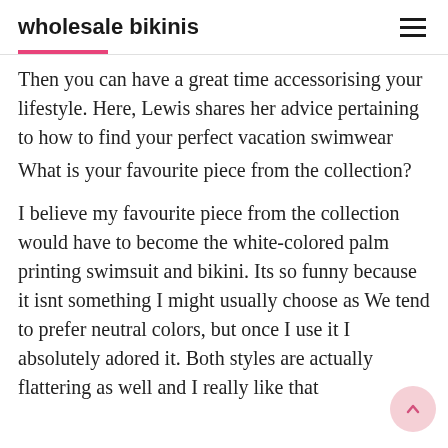wholesale bikinis
Then you can have a great time accessorising your lifestyle. Here, Lewis shares her advice pertaining to how to find your perfect vacation swimwear
What is your favourite piece from the collection?
I believe my favourite piece from the collection would have to become the white-colored palm printing swimsuit and bikini. Its so funny because it isnt something I might usually choose as We tend to prefer neutral colors, but once I use it I absolutely adored it. Both styles are actually flattering as well and I really like that